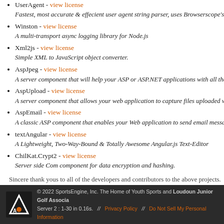UserAgent - view license
Fastest, most accurate & effecient user agent string parser, uses Browserscope's res...
Winston - view license
A multi-transport async logging library for Node.js
Xml2js - view license
Simple XML to JavaScript object converter.
AspJpeg - view license
A server component that will help your ASP or ASP.NET applications with all their i...
AspUpload - view license
A server component that allows your web application to capture files uploaded with ...
AspEmail - view license
A classic ASP component that enables your Web application to send email messages...
textAngular - view license
A Lightweight, Two-Way-Bound & Totally Awesome Angular.js Text-Editor
ChilKat.Crypt2 - view license
Server side Com component for data encryption and hashing.
Sincere thank yous to all of the developers and contributors to the above projects.
© 2022 SportsEngine, Inc. The Home of Youth Sports and Loudoun Junior Golf Associa... Server 2 : 1-30 in 0.16s. // Privacy Policy // Do Not Sell My Personal Information